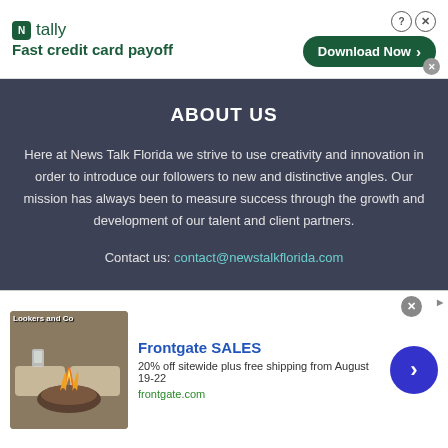[Figure (infographic): Tally advertisement banner: logo with green N icon, 'N tally Fast credit card payoff' text, green 'Download Now →' button, and close/help controls]
ABOUT US
Here at News Talk Florida we strive to use creativity and innovation in order to introduce our followers to new and distinctive angles. Our mission has always been to measure success through the growth and development of our talent and client partners.
Contact us: contact@newstalkflorida.com
[Figure (infographic): Frontgate SALES advertisement: fire pit image, '20% off sitewide plus free shipping from August 19-22', frontgate.com, blue arrow button]